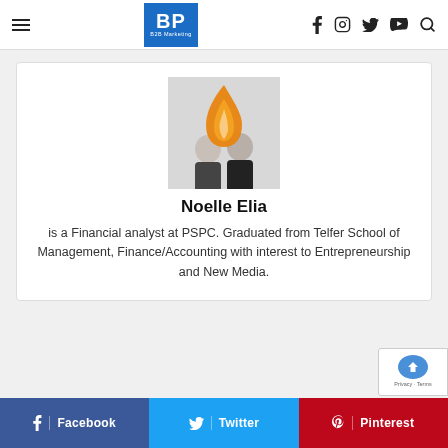BP B2B Marketing
[Figure (photo): Author photo with flame logo overlay — two people (a woman and a man) shown under an orange flame graphic on a light grey background]
Noelle Elia
is a Financial analyst at PSPC. Graduated from Telfer School of Management, Finance/Accounting with interest to Entrepreneurship and New Media.
Facebook  Twitter  Pinterest